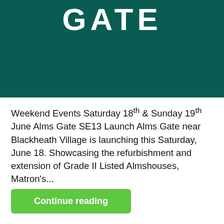[Figure (other): Dark teal/green banner with large white bold text reading 'GATE']
Weekend Events Saturday 18th & Sunday 19th June Alms Gate SE13 Launch Alms Gate near Blackheath Village is launching this Saturday, June 18. Showcasing the refurbishment and extension of Grade II Listed Almshouses, Matron's...
Continue reading